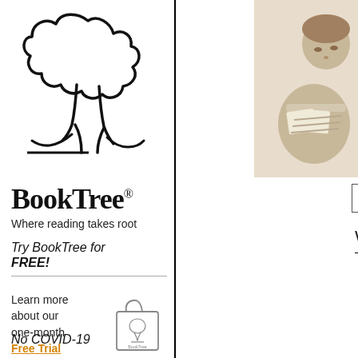[Figure (logo): BookTree logo: black outline drawing of a tree with round fluffy top and stylized trunk/roots]
[Figure (photo): Black and white sepia photo of a young boy sitting cross-legged reading a book]
BookTree®
Where reading takes root
Try BookTree for FREE!
Learn more about our one-month Free Trial offer.
[Figure (illustration): Line drawing of a BookTree branded tote bag]
No COVID-19
About Us
Q & A
Welcome to BookTre…